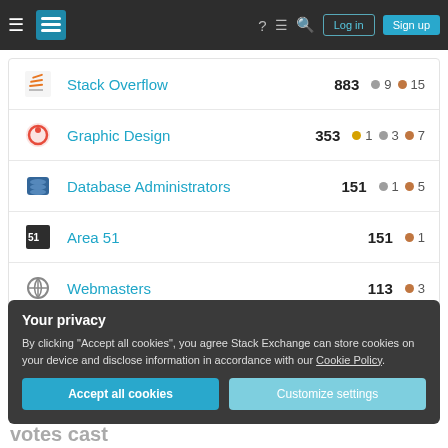Stack Exchange navigation bar with Log in and Sign up buttons
Stack Overflow 883 • 9 • 15
Graphic Design 353 • 1 • 3 • 7
Database Administrators 151 • 1 • 5
Area 51 151 • 1
Webmasters 113 • 3
Your privacy
By clicking "Accept all cookies", you agree Stack Exchange can store cookies on your device and disclose information in accordance with our Cookie Policy.
Accept all cookies   Customize settings
votes cast